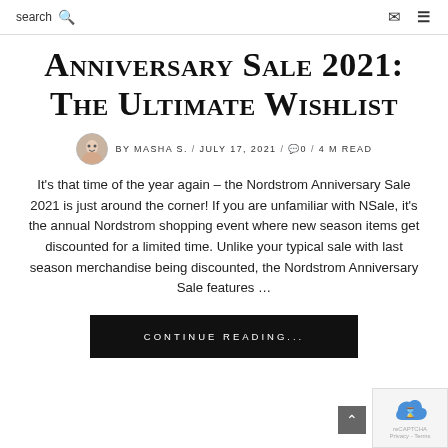search  [search icon]  [mail icon]  [menu icon]
Anniversary Sale 2021: The Ultimate Wishlist
BY MASHA S. / JULY 17, 2021 / 0 / 4 M READ
It's that time of the year again – the Nordstrom Anniversary Sale 2021 is just around the corner! If you are unfamiliar with NSale, it's the annual Nordstrom shopping event where new season items get discounted for a limited time. Unlike your typical sale with last season merchandise being discounted, the Nordstrom Anniversary Sale features ...
CONTINUE READING...